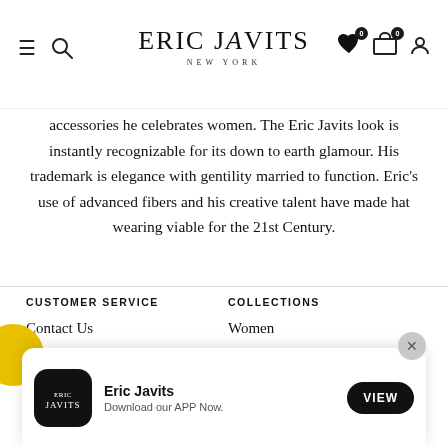Eric Javits New York — navigation bar with hamburger menu, search, logo, wishlist (0), cart (0), account icons
accessories he celebrates women. The Eric Javits look is instantly recognizable for its down to earth glamour. His trademark is elegance with gentility married to function. Eric's use of advanced fibers and his creative talent have made hat wearing viable for the 21st Century.
CUSTOMER SERVICE
COLLECTIONS
Contact Us
Women
Store Locator
Hats
Returns Page
[Figure (screenshot): Eric Javits app download banner with app icon (black rounded square with Eric Javits logo in white), 'Eric Javits' title, 'Download our APP Now.' subtitle, VIEW button, and close (×) button]